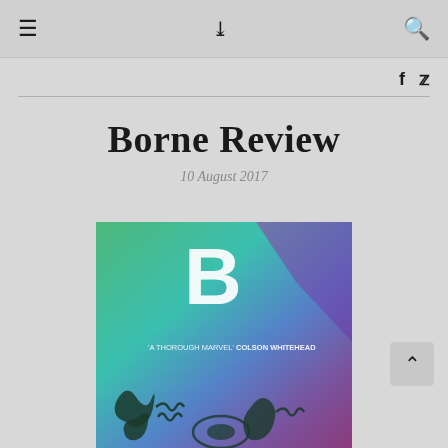≡  ❯❯  🔍
f  🐦
Borne Review
10 August 2017
[Figure (photo): Book cover of 'Borne' by Jeff VanderMeer — colorful abstract cover with large white letter B at top, teal/blue/purple/green gradient background, dark illustrated creature figures at bottom, text reads 'A THOROUGH MARVEL' COLSON WHITEHEAD at middle.]